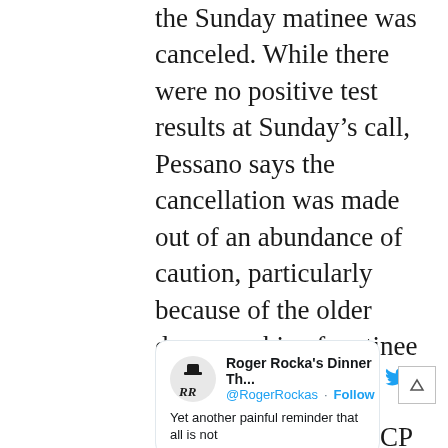the Sunday matinee was canceled. While there were no positive test results at Sunday's call, Pessano says the cancellation was made out of an abundance of caution, particularly because of the older demographic of matinee audiences.
For “Music Man,” GCP posted the news Saturday afternoon on Twitter:
[Figure (screenshot): Embedded tweet card from Roger Rocka's Dinner Th... @RogerRockas with a Follow button and Twitter bird logo. Preview text: 'Yet another painful reminder that all is not']